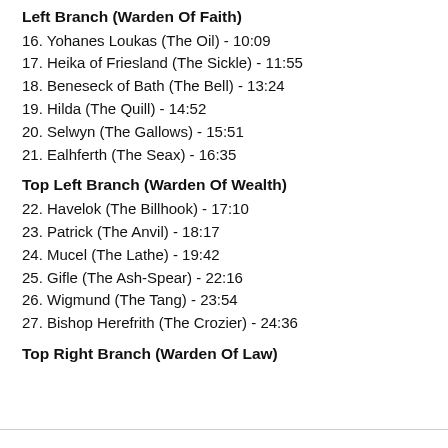Left Branch (Warden Of Faith)
16. Yohanes Loukas (The Oil) - 10:09
17. Heika of Friesland (The Sickle) - 11:55
18. Beneseck of Bath (The Bell) - 13:24
19. Hilda (The Quill) - 14:52
20. Selwyn (The Gallows) - 15:51
21. Ealhferth (The Seax) - 16:35
Top Left Branch (Warden Of Wealth)
22. Havelok (The Billhook) - 17:10
23. Patrick (The Anvil) - 18:17
24. Mucel (The Lathe) - 19:42
25. Gifle (The Ash-Spear) - 22:16
26. Wigmund (The Tang) - 23:54
27. Bishop Herefrith (The Crozier) - 24:36
Top Right Branch (Warden Of Law)